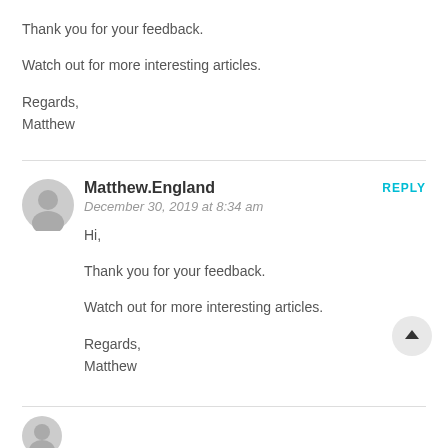Thank you for your feedback.
Watch out for more interesting articles.
Regards,
Matthew
Matthew.England
December 30, 2019 at 8:34 am
REPLY
Hi,
Thank you for your feedback.
Watch out for more interesting articles.
Regards,
Matthew